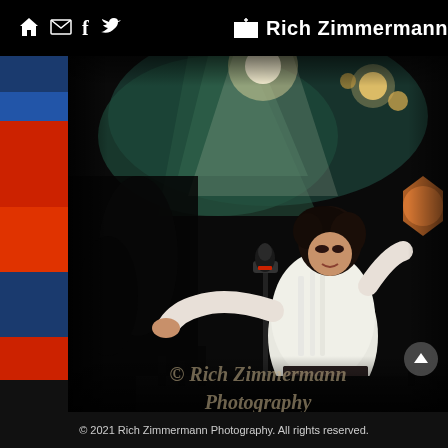Rich Zimmermann
[Figure (photo): Concert photograph of a rock performer in a white ruffled shirt and dark pants, singing into a microphone with dramatic stage lighting including green/teal haze and bright spotlights. Left sidebar shows partial view of another image with blue and red tones.]
© 2021 Rich Zimmermann Photography. All rights reserved.